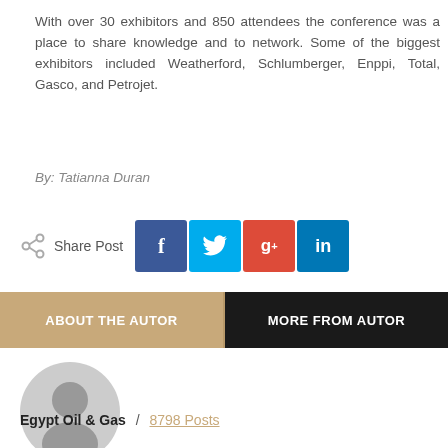With over 30 exhibitors and 850 attendees the conference was a place to share knowledge and to network. Some of the biggest exhibitors included Weatherford, Schlumberger, Enppi, Total, Gasco, and Petrojet.
By: Tatianna Duran
[Figure (infographic): Share Post row with social media buttons: Facebook (blue), Twitter (light blue), Google+ (red), LinkedIn (blue)]
[Figure (infographic): Two tabs: ABOUT THE AUTOR (tan/gold background) and MORE FROM AUTOR (black background)]
[Figure (photo): Generic gray user avatar placeholder circle icon]
Egypt Oil & Gas / 8798 Posts